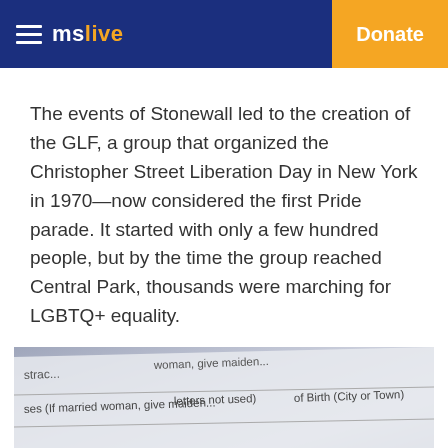mslive   Donate
The events of Stonewall led to the creation of the GLF, a group that organized the Christopher Street Liberation Day in New York in 1970—now considered the first Pride parade. It started with only a few hundred people, but by the time the group reached Central Park, thousands were marching for LGBTQ+ equality.
[Figure (photo): Close-up photo of a paper form/document showing partial text fields including 'If married woman, give maiden', 'letters not used', and 'of Birth (City or Town)']